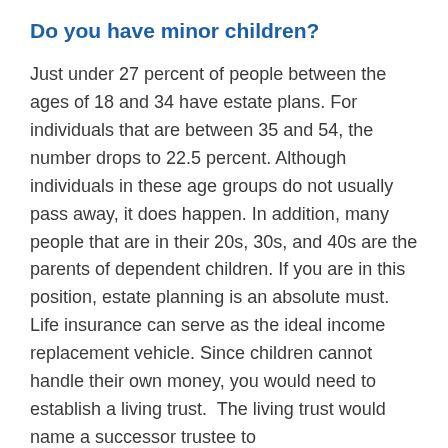Do you have minor children?
Just under 27 percent of people between the ages of 18 and 34 have estate plans. For individuals that are between 35 and 54, the number drops to 22.5 percent. Although individuals in these age groups do not usually pass away, it does happen. In addition, many people that are in their 20s, 30s, and 40s are the parents of dependent children. If you are in this position, estate planning is an absolute must.  Life insurance can serve as the ideal income replacement vehicle. Since children cannot handle their own money, you would need to establish a living trust.  The living trust would name a successor trustee to